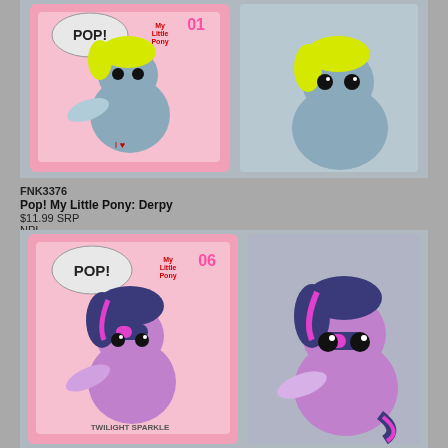[Figure (photo): Funko Pop! My Little Pony Derpy #01 vinyl figure shown in pink box and out of box. Blue-grey pony with yellow mane.]
FNK3376
Pop! My Little Pony: Derpy
$11.99 SRP
NPI
[Figure (photo): Funko Pop! My Little Pony Twilight Sparkle #06 vinyl figure shown in pink box and out of box. Purple pony with dark blue and pink streaked mane.]